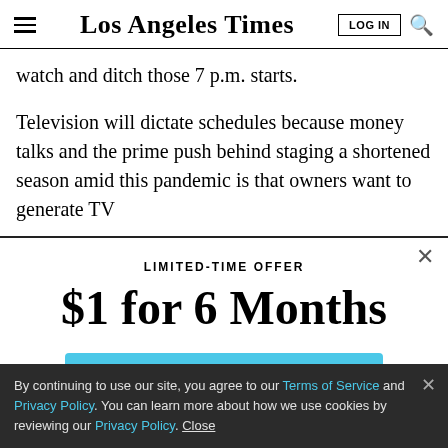Los Angeles Times
watch and ditch those 7 p.m. starts.
Television will dictate schedules because money talks and the prime push behind staging a shortened season amid this pandemic is that owners want to generate TV
LIMITED-TIME OFFER
$1 for 6 Months
SUBSCRIBE NOW
By continuing to use our site, you agree to our Terms of Service and Privacy Policy. You can learn more about how we use cookies by reviewing our Privacy Policy. Close